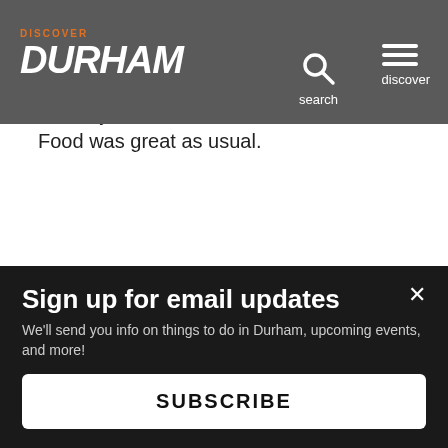Discover Durham — navigation bar with logo, search, and discover menu
birthday to me making that one of the most special days ive had. We love Bonefish and try to celebrate birthdays and anniversaries there. Food was great as usual.
Tim Zombar
Feb 15, 2020
5 ★★★★★
Gr
Alv
This website uses cookies to ensure you get the best experience on our website.
Sign up for email updates
We'll send you info on things to do in Durham, upcoming events, and more!
SUBSCRIBE